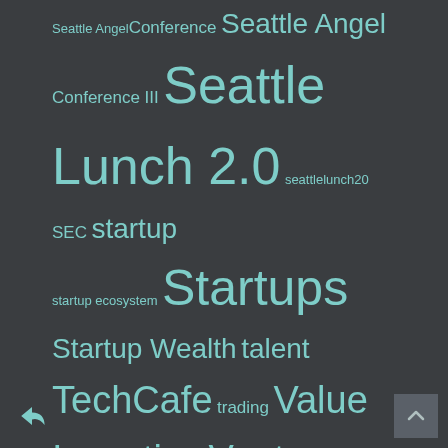Seattle Angel Conference Seattle Angel Conference III Seattle Lunch 2.0 seattlelunch20 SEC startup startup ecosystem Startups Startup Wealth talent TechCafe trading Value Investing Venture Capital
Recent Posts
Passionate failure
Letters to my kids – Shortcuts
4 Things Investors Secretly Look For in Your Cap Table
Parents don't outsource their love
Get lost before it's too late
The growing Norwegian startup community
The top of the Northwest
New rules, new liquidity for private company stock
Onward
The next treatment
This is going to be a huge business
The new new publishing platform
6 books to read when startup valuations are deteriorating